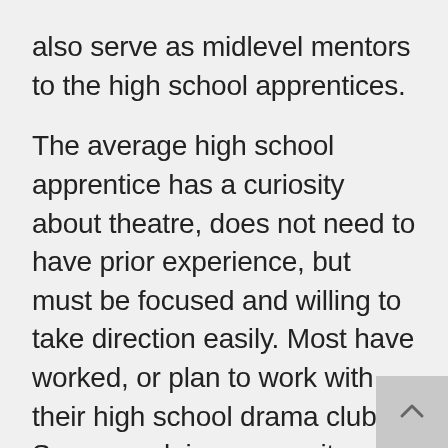also serve as midlevel mentors to the high school apprentices.

The average high school apprentice has a curiosity about theatre, does not need to have prior experience, but must be focused and willing to take direction easily. Most have worked, or plan to work with their high school drama club. Some, work in community theatre companies, either as performers or crew, while still others, arrive without experience and leave with a bevy of skills in teamwork, creativity, and personal accountability. As a non-profit theatre company, NBFT receives grant and donation support for